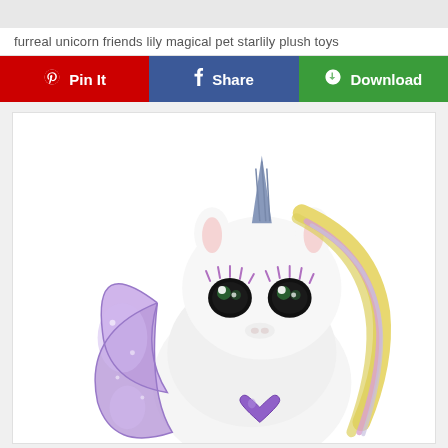furreal unicorn friends lily magical pet starlily plush toys
[Figure (other): Three social sharing/action buttons: red Pin It button with Pinterest logo, blue Share button with Facebook logo, green Download button with download icon]
[Figure (photo): Close-up photo of a FurReal Friends Starlily unicorn plush toy with white fluffy body, purple glittery butterfly wings, blue spiral horn, big expressive eyes with purple eyelashes, blonde and pink mane, and a purple heart-shaped charm on its chest, on a white background]